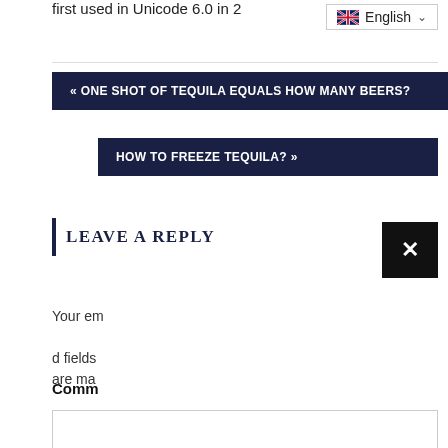first used in Unicode 6.0 in 2...
English
« ONE SHOT OF TEQUILA EQUALS HOW MANY BEERS?
HOW TO FREEZE TEQUILA? »
LEAVE A REPLY
Your email address will not be published. Required fields are marked *
Comment
(comment textarea)